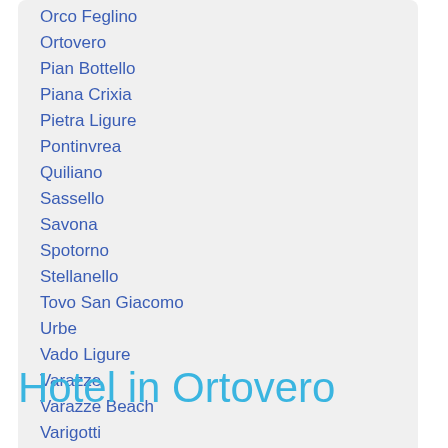Orco Feglino
Ortovero
Pian Bottello
Piana Crixia
Pietra Ligure
Pontinvrea
Quiliano
Sassello
Savona
Spotorno
Stellanello
Tovo San Giacomo
Urbe
Vado Ligure
Varazze
Varazze Beach
Varigotti
Zuccarello
Hotel in Ortovero